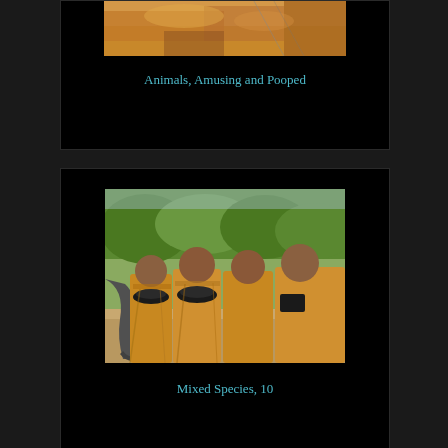[Figure (photo): Top portion of an animal photo (appears to be a camel or similar animal with golden/tan fur), cropped at top of page]
Animals, Amusing and Pooped
[Figure (photo): Photo of young Buddhist monks in orange robes standing in a line outdoors, with an elephant trunk visible reaching toward them from the left. Green trees in background.]
Mixed Species, 10